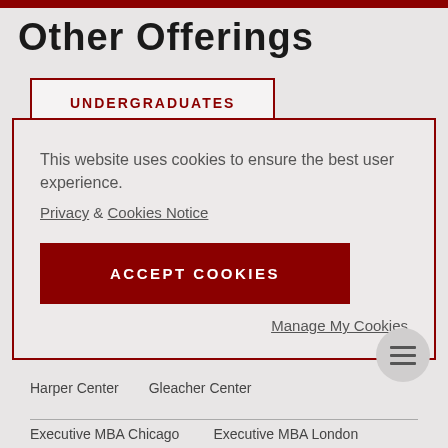Other Offerings
UNDERGRADUATES
This website uses cookies to ensure the best user experience.
Privacy & Cookies Notice
ACCEPT COOKIES
Manage My Cookies
Harper Center    Gleacher Center
Executive MBA Chicago    Executive MBA London